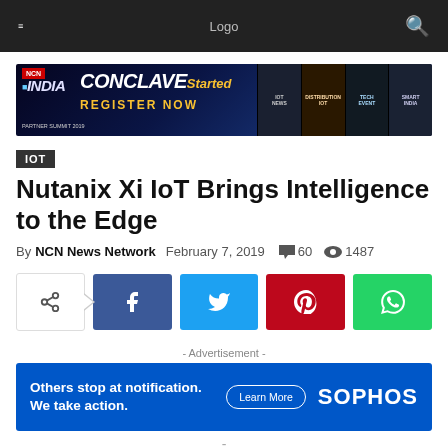NCN News Network — Logo — Search
[Figure (photo): NCN India Partner Summit Conclave banner advertisement — CONCLAVE Started REGISTER NOW]
IOT
Nutanix Xi IoT Brings Intelligence to the Edge
By NCN News Network   February 7, 2019   💬 60   👁 1487
[Figure (infographic): Social share buttons: share icon with arrow, Facebook, Twitter, Pinterest, WhatsApp]
- Advertisement -
[Figure (infographic): Sophos advertisement: Others stop at notification. We take action. Learn More. SOPHOS]